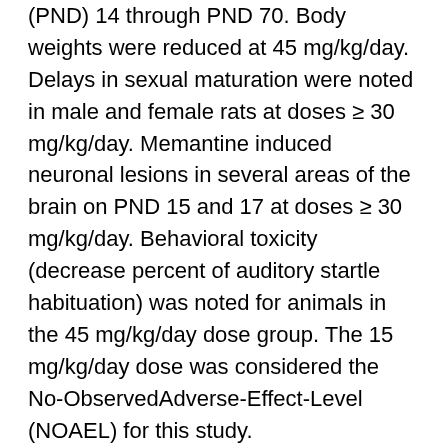(PND) 14 through PND 70. Body weights were reduced at 45 mg/kg/day. Delays in sexual maturation were noted in male and female rats at doses ≥ 30 mg/kg/day. Memantine induced neuronal lesions in several areas of the brain on PND 15 and 17 at doses ≥ 30 mg/kg/day. Behavioral toxicity (decrease percent of auditory startle habituation) was noted for animals in the 45 mg/kg/day dose group. The 15 mg/kg/day dose was considered the No-ObservedAdverse-Effect-Level (NOAEL) for this study. In a second juvenile rat toxicity study, male and female juvenile rats were administered memantine (1, 3, 8, 15, 30, and 45 mg/kg/day) starting on postnatal day (PND) 7 through PND 70. Due to early memantine-related mortality, the